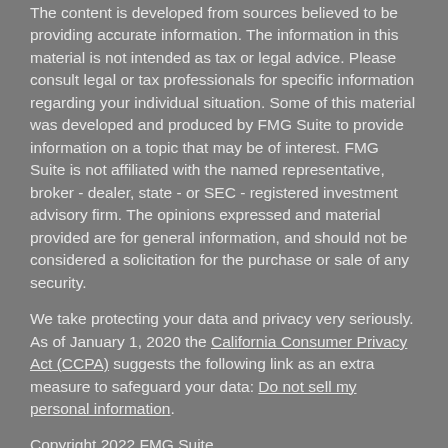The content is developed from sources believed to be providing accurate information. The information in this material is not intended as tax or legal advice. Please consult legal or tax professionals for specific information regarding your individual situation. Some of this material was developed and produced by FMG Suite to provide information on a topic that may be of interest. FMG Suite is not affiliated with the named representative, broker - dealer, state - or SEC - registered investment advisory firm. The opinions expressed and material provided are for general information, and should not be considered a solicitation for the purchase or sale of any security.
We take protecting your data and privacy very seriously. As of January 1, 2020 the California Consumer Privacy Act (CCPA) suggests the following link as an extra measure to safeguard your data: Do not sell my personal information.
Copyright 2022 FMG Suite.
All written content on this site is for information purposes only. Opinions expressed herein are solely those of RLB Financial, LLC and our editorial staff. Material presented is believed to be from reliable sources; however, we make no representations as to its